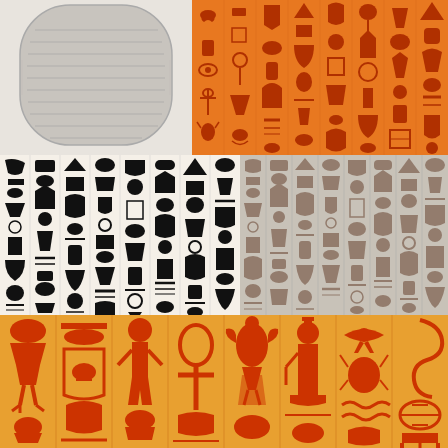[Figure (illustration): Egyptian stone/tablet artifact drawing in grayscale, showing a rounded rectangular stone slab with horizontal line engravings suggesting hieroglyphic text]
[Figure (illustration): Egyptian hieroglyphics on orange/golden background, vertical columns of hieroglyphs in dark red/brown color]
[Figure (illustration): Egyptian hieroglyphics, left half: black hieroglyphs on light background in vertical columns, detailed figures of birds, people, animals, symbols]
[Figure (illustration): Egyptian hieroglyphics, right half: brown/sepia hieroglyphs on grey background in vertical columns]
[Figure (illustration): Egyptian hieroglyphics on orange/golden background, large scale figures in dark red/orange, including birds, human figures, gods, cartouches, and symbols]